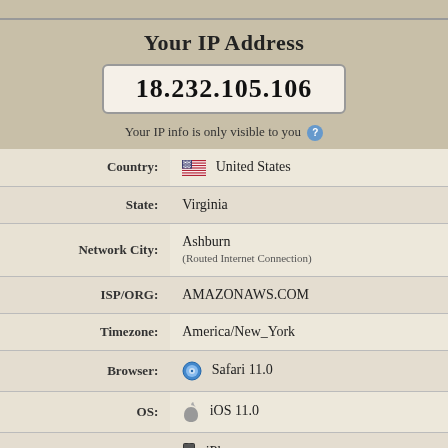Your IP Address
18.232.105.106
Your IP info is only visible to you
| Field | Value |
| --- | --- |
| Country: | United States |
| State: | Virginia |
| Network City: | Ashburn
(Routed Internet Connection) |
| ISP/ORG: | AMAZONAWS.COM |
| Timezone: | America/New_York |
| Browser: | Safari 11.0 |
| OS: | iOS 11.0 |
| Device: | iPhone |
| Screen Resolution: | 800x600 |